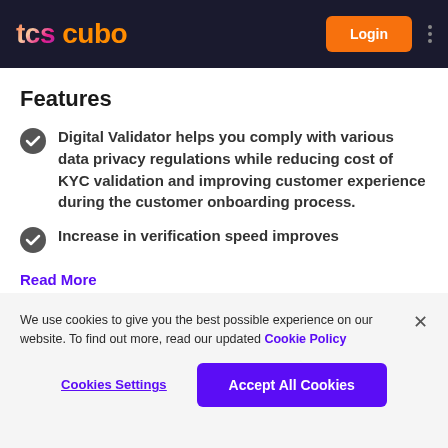tcs CUBO — Login
Features
Digital Validator helps you comply with various data privacy regulations while reducing cost of KYC validation and improving customer experience during the customer onboarding process.
Increase in verification speed improves
Read More
We use cookies to give you the best possible experience on our website. To find out more, read our updated Cookie Policy
Cookies Settings   Accept All Cookies